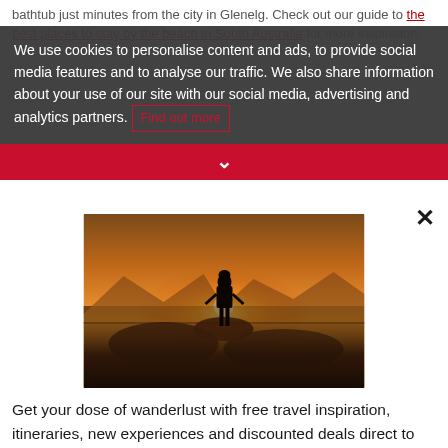bathtub just minutes from the city in Glenelg. Check out our guide to the best places to stay by the beach in South Australia for more inspiration.
WHERE CAN I FIND BEACHFRONT
We use cookies to personalise content and ads, to provide social media features and to analyse our traffic. We also share information about your use of our site with our social media, advertising and analytics partners. Find out more
[Figure (photo): Person standing on a rocky outcrop silhouetted against a dramatic golden sunset over a wide landscape with mountains in the background]
Get your dose of wanderlust with free travel inspiration, itineraries, new experiences and discounted deals direct to your inbox.
INSPIRE ME